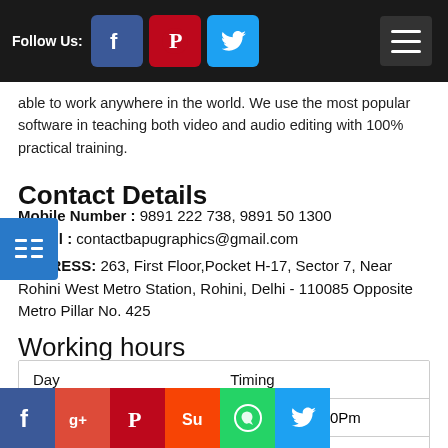Follow Us:
able to work anywhere in the world. We use the most popular software in teaching both video and audio editing with 100% practical training.
Contact Details
Mobile Number : 9891 222 738, 9891 50 1300
E-mail : contactbapugraphics@gmail.com
ADDRESS: 263, First Floor,Pocket H-17, Sector 7, Near Rohini West Metro Station, Rohini, Delhi - 110085 Opposite Metro Pillar No. 425
Working hours
| Day | Timing |
| --- | --- |
| Monday To Friday | 8:00 Am To 8:00Pm |
|  | 8:00 Am To 5:00Pm |